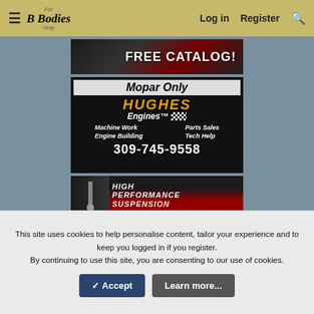For B Bodies Only — Log in | Register
[Figure (illustration): FREE CATALOG! advertisement banner with dark car background]
[Figure (illustration): Hughes Engines advertisement: Mopar Only, Machine Work, Parts Sales, Engine Building, Tech Help, 309-745-9558]
[Figure (illustration): QA1 High Performance Suspension advertisement with Learn More button]
This site uses cookies to help personalise content, tailor your experience and to keep you logged in if you register.
By continuing to use this site, you are consenting to our use of cookies.
✓ Accept    Learn more...